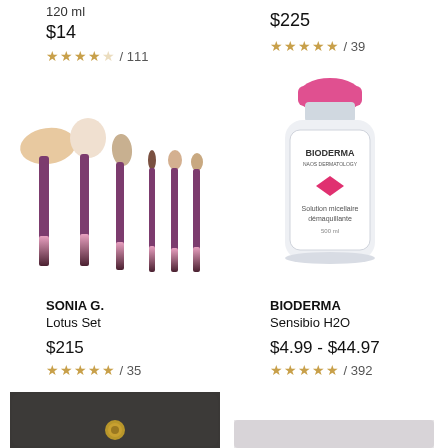120 ml
$14
★★★★☆ / 111
$225
★★★★★ / 39
[Figure (photo): Set of 6 makeup brushes with pink-to-purple ombre handles and various brush head sizes]
[Figure (photo): Bioderma Sensibio H2O micellar water bottle with pink cap]
SONIA G.
Lotus Set
$215
★★★★★ / 35
BIODERMA
Sensibio H2O
$4.99 - $44.97
★★★★★ / 392
[Figure (photo): Dark gray clutch/wallet with gold clasp, partially visible at bottom of page]
[Figure (photo): Partial view of another product at bottom right of page]